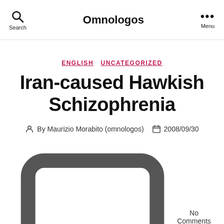Omnologos
ENGLISH  UNCATEGORIZED
Iran-caused Hawkish Schizophrenia
By Maurizio Morabito (omnologos)  2008/09/30  No Comments
(Letter to the IHT)